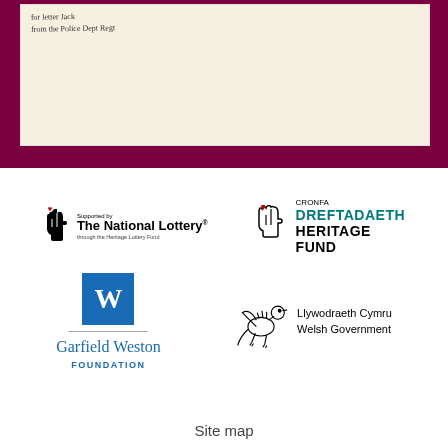[Figure (photo): Scan of a handwritten document/note with cursive text on aged paper, visible against a dark maroon background]
[Figure (logo): The National Lottery logo - supported by The National Lottery through the Heritage Lottery Fund]
[Figure (logo): Cronfa Dreftadaeth Heritage Fund logo with crossed fingers icon in teal and black text]
[Figure (logo): Garfield Weston Foundation logo - blue W box with serif text]
[Figure (logo): Llywodraeth Cymru Welsh Government logo with dragon illustration]
Site map